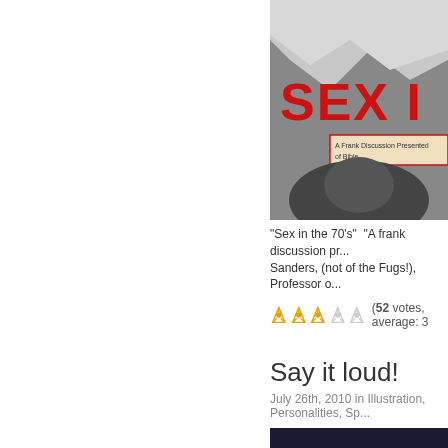[Figure (photo): Album cover showing 'SEX IN the 70s' with text 'A Frank Discussion Presented of Bible...' in red on a worn paper background]
“Sex in the 70’s”  “A frank discussion pr... Sanders, (not of the Fugs!), Professor o...
[Figure (illustration): Five vinyl record adapter icons (45 rpm spindle adapters): three filled in orange/gold color and two in light gray, representing a rating of 3 out of 5]
(52 votes, average: 3...)
Say it loud!
July 26th, 2010 in Illustration, Personalities, Sp...
[Figure (photo): Dark blue photo showing a small eagle figurine/trophy and what appears to be a red item on the right side]